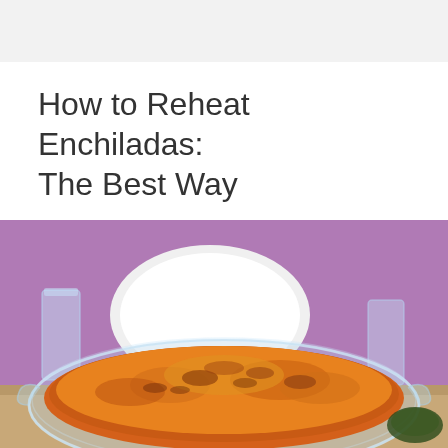How to Reheat Enchiladas: The Best Way
[Figure (photo): A glass oval baking dish filled with enchiladas topped with melted orange and brown cheese, placed on a wooden surface with a purple tablecloth, a white plate, and drinking glasses in the background.]